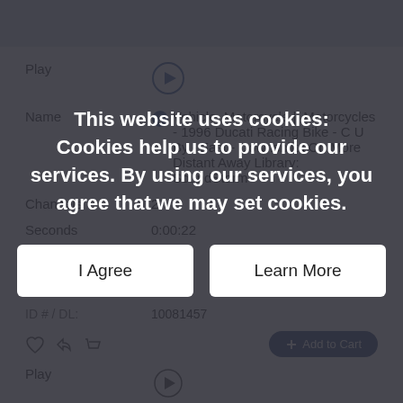[Figure (screenshot): Top light blue/gray banner area]
| Field | Value |
| --- | --- |
| Play | [play button] |
| Name | Vehicle, Motorcycle || Motorcycles - 1996 Ducati Racing Bike - C U By - Fast - Downshifts On More Distant Away Library: SoundStorm |
| Channels | 2 |
| Seconds | 0:00:22 |
| Bit Depth | 16 |
| Sample Rate | 48 |
| Max Cost: | $3.34 |
| ID # / DL: | 10081457 |
This website uses cookies: Cookies help us to provide our services. By using our services, you agree that we may set cookies.
I Agree
Learn More
Play
Name - Vehicle, Motorcycle || Motorcycles - 1996 Ducati Racing